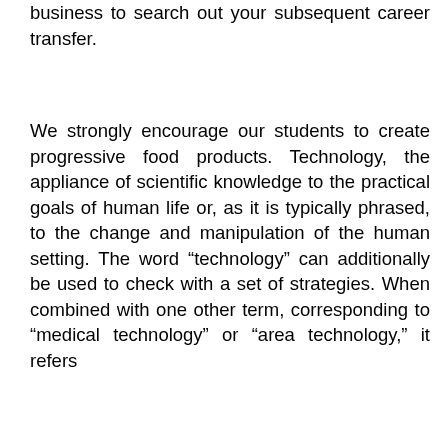business to search out your subsequent career transfer.
We strongly encourage our students to create progressive food products. Technology, the appliance of scientific knowledge to the practical goals of human life or, as it is typically phrased, to the change and manipulation of the human setting. The word “technology” can additionally be used to check with a set of strategies. When combined with one other term, corresponding to “medical technology” or “area technology,” it refers